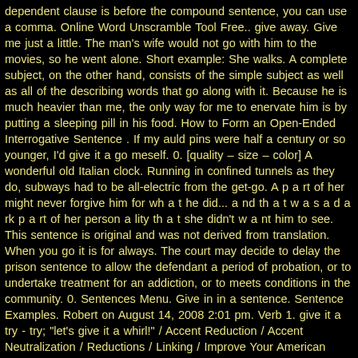dependent clause is before the compound sentence, you can use a comma. Online Word Unscramble Tool Free.. give away. Give me just a little. The man's wife would not go with him to the movies, so he went alone. Short example: She walks. A complete subject, on the other hand, consists of the simple subject as well as all of the describing words that go along with it. Because he is much heavier than me, the only way for me to enervate him is by putting a sleeping pill in his food. How to Form an Open-Ended Interrogative Sentence . If my auld pins were half a century or so younger, I'd give it a go meself. 0. [quality – size – color] A wonderful old Italian clock. Running in confined tunnels as they do, subways had to be all-electric from the get-go. A p a rt of her might never forgive him for wh a t he did... a nd th a t w a s a d a rk p a rt of her person a lity th a t she didn't w a nt him to see. This sentence is original and was not derived from translation. When you go it is for always. The court may decide to delay the prison sentence to allow the defendant a period of probation, or to undertake treatment for an addiction, or to meets conditions in the community. 0. Sentences Menu. Give in in a sentence. Sentence Examples. Robert on August 14, 2008 2:01 pm. Verb 1. give it a try - try; "let's give it a whirl!" / Accent Reduction / Accent Neutralization / Reductions / Linking / Improve Your American English Pronunciation / Improve Your Pronunciaton / Accent Training Audio Files / sound natural when I speak / accent modification / ... 0. 5. Can you give me a use case? 12. to give some examples of the ice cream